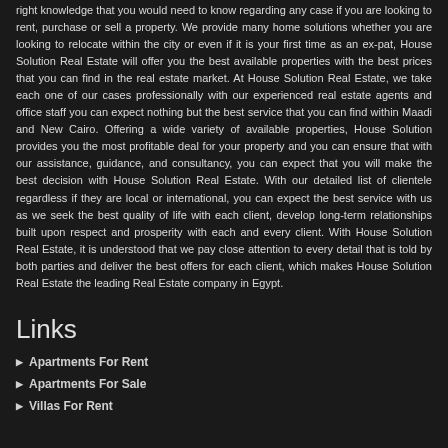right knowledge that you would need to know regarding any case if you are looking to rent, purchase or sell a property. We provide many home solutions whether you are looking to relocate within the city or even if it is your first time as an ex-pat, House Solution Real Estate will offer you the best available properties with the best prices that you can find in the real estate market. At House Solution Real Estate, we take each one of our cases professionally with our experienced real estate agents and office staff you can expect nothing but the best service that you can find within Maadi and New Cairo. Offering a wide variety of available properties, House Solution provides you the most profitable deal for your property and you can ensure that with our assistance, guidance, and consultancy, you can expect that you will make the best decision with House Solution Real Estate. With our detailed list of clientele regardless if they are local or international, you can expect the best service with us as we seek the best quality of life with each client, develop long-term relationships built upon respect and prosperity with each and every client. With House Solution Real Estate, it is understood that we pay close attention to every detail that is told by both parties and deliver the best offers for each client, which makes House Solution Real Estate the leading Real Estate company in Egypt.
Links
Apartments For Rent
Apartments For Sale
Villas For Rent